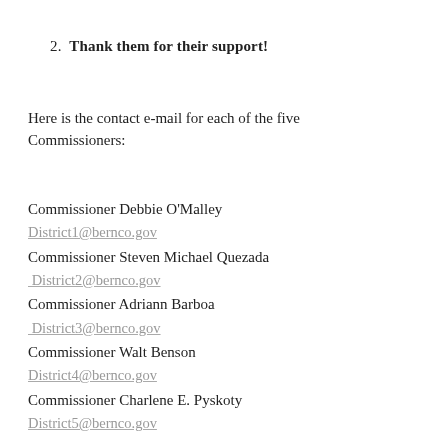2.  Thank them for their support!
Here is the contact e-mail for each of the five Commissioners:
Commissioner Debbie O'Malley
District1@bernco.gov
Commissioner Steven Michael Quezada
District2@bernco.gov
Commissioner Adriann Barboa
District3@bernco.gov
Commissioner Walt Benson
District4@bernco.gov
Commissioner Charlene E. Pyskoty
District5@bernco.gov